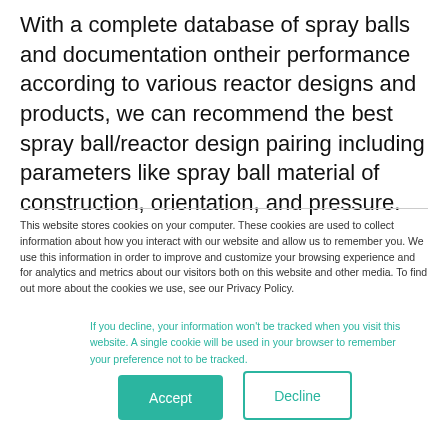With a complete database of spray balls and documentation ontheir performance according to various reactor designs and products, we can recommend the best spray ball/reactor design pairing including parameters like spray ball material of construction, orientation, and pressure.
This website stores cookies on your computer. These cookies are used to collect information about how you interact with our website and allow us to remember you. We use this information in order to improve and customize your browsing experience and for analytics and metrics about our visitors both on this website and other media. To find out more about the cookies we use, see our Privacy Policy.
If you decline, your information won't be tracked when you visit this website. A single cookie will be used in your browser to remember your preference not to be tracked.